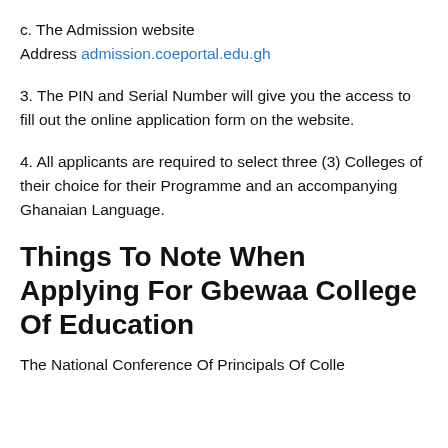c. The Admission website Address admission.coeportal.edu.gh
3. The PIN and Serial Number will give you the access to fill out the online application form on the website.
4. All applicants are required to select three (3) Colleges of their choice for their Programme and an accompanying Ghanaian Language.
Things To Note When Applying For Gbewaa College Of Education
The National Conference Of Principals Of Colle...